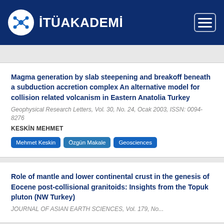İTÜAKADEMİ
Magma generation by slab steepening and breakoff beneath a subduction accretion complex An alternative model for collision related volcanism in Eastern Anatolia Turkey
Geophysical Research Letters, Vol. 30, No. 24, Ocak 2003, ISSN: 0094-8276
KESKİN MEHMET
Mehmet Keskin | Özgün Makale | Geosciences
Role of mantle and lower continental crust in the genesis of Eocene post-collisional granitoids: Insights from the Topuk pluton (NW Turkey)
JOURNAL OF ASIAN EARTH SCIENCES, Vol. 179, No...